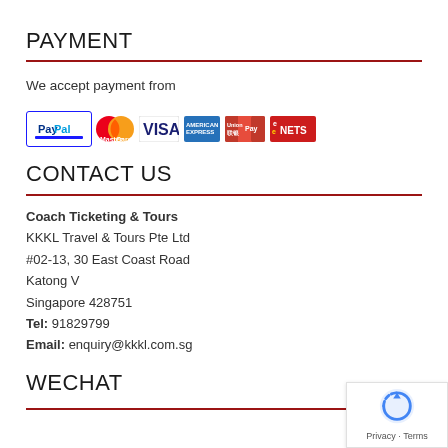PAYMENT
We accept payment from
[Figure (other): Payment method logos: PayPal, MasterCard, VISA, American Express, UnionPay, eNETS]
CONTACT US
Coach Ticketing & Tours
KKKL Travel & Tours Pte Ltd
#02-13, 30 East Coast Road
Katong V
Singapore 428751
Tel: 91829799
Email: enquiry@kkkl.com.sg
WECHAT